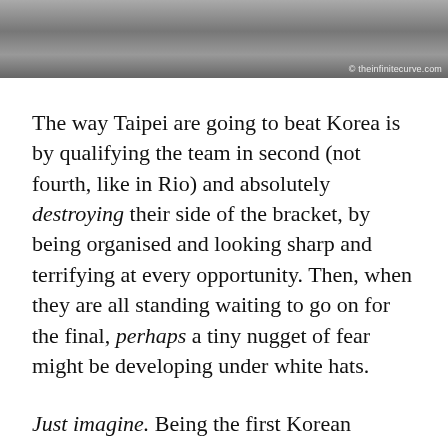[Figure (photo): Black and white photograph of people, partially visible at top of page. Watermark reads '© theinfinitecurve.com' in bottom right corner.]
The way Taipei are going to beat Korea is by qualifying the team in second (not fourth, like in Rio) and absolutely destroying their side of the bracket, by being organised and looking sharp and terrifying at every opportunity. Then, when they are all standing waiting to go on for the final, perhaps a tiny nugget of fear might be developing under white hats.
Just imagine. Being the first Korean women's team to come home with silver. Silver. I mean, it would be better to get knocked out in the first round than come home with team silver. The humiliation.
Yes, I'm speculating. But I got to see the Korean women's team at the same moment in Rio, and they were nervous